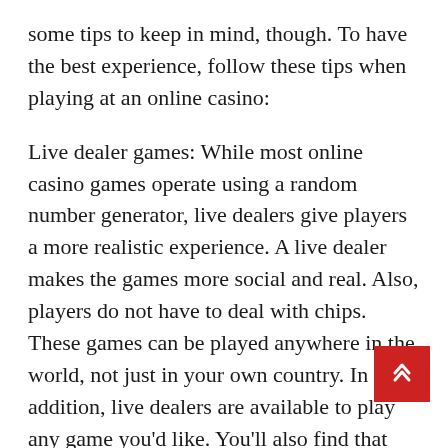some tips to keep in mind, though. To have the best experience, follow these tips when playing at an online casino:
Live dealer games: While most online casino games operate using a random number generator, live dealers give players a more realistic experience. A live dealer makes the games more social and real. Also, players do not have to deal with chips. These games can be played anywhere in the world, not just in your own country. In addition, live dealers are available to play any game you'd like. You'll also find that live dealer games typically offer lower minimum bets than those found at other online casinos.
Live casino games have several benefits. Live